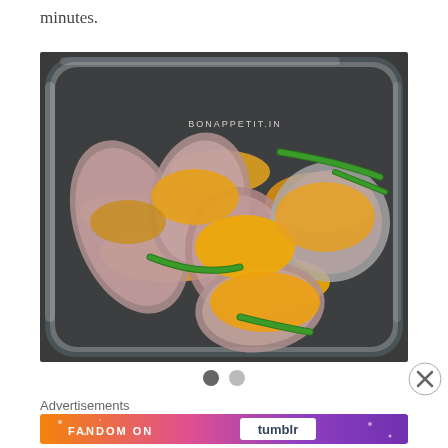minutes.
[Figure (photo): Fish pieces coated with yellow turmeric powder and green chilies in a glass baking dish. Watermark reads BONAPPETIT.IN]
Slide indicator dots (2 dots, first active)
Advertisements
[Figure (photo): Advertisement banner for 'FANDOM ON tumblr' with colorful gradient background (orange, purple, pink)]